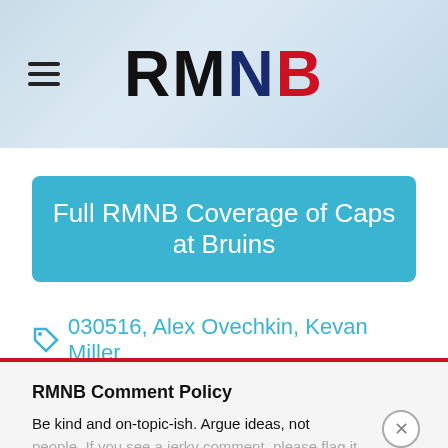RMNB
Full RMNB Coverage of Caps at Bruins
030516, Alex Ovechkin, Kevan Miller
RMNB Comment Policy
Be kind and on-topic-ish. Argue ideas, not people. If you see a jerky comment, please flag it using the menu at right.